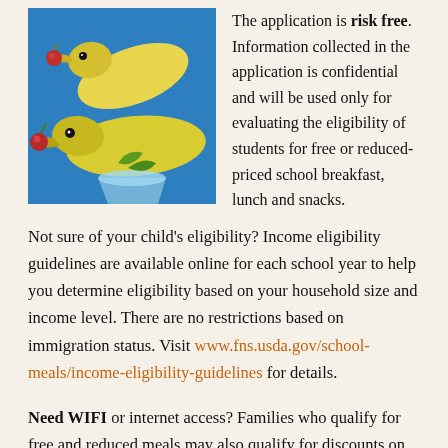[Figure (photo): Two banana-shaped bird sculptures with red berry accents in their mouths, positioned against a blue background]
The application is risk free. Information collected in the application is confidential and will be used only for evaluating the eligibility of students for free or reduced-priced school breakfast, lunch and snacks.
Not sure of your child's eligibility? Income eligibility guidelines are available online for each school year to help you determine eligibility based on your household size and income level. There are no restrictions based on immigration status. Visit www.fns.usda.gov/school-meals/income-eligibility-guidelines for details.
Need WIFI or internet access? Families who qualify for free and reduced meals may also qualify for discounts on high-speed internet through AT&T and Charter. Contact your local internet provider for details.